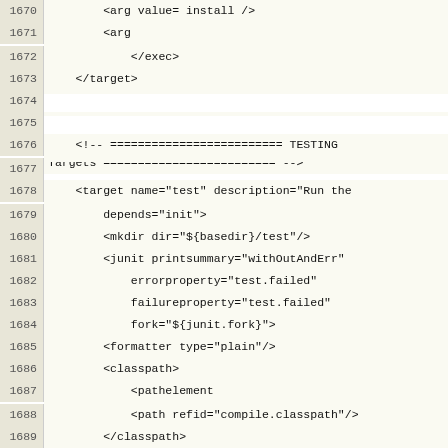Source code listing lines 1670-1689 of an XML/Ant build file
1670    <arg value="install"/>
1671    <arg value="GSDLHOME=${gs2build.home}"/>
1672        </exec>
1673    </target>
1674
1675
1676    <!-- ========================= TESTING Targets ========================= -->
1677
1678    <target name="test" description="Run the (incomplete) JUnit test suite "
1679        depends="init">
1680        <mkdir dir="${basedir}/test"/>
1681        <junit printsummary="withOutAndErr"
1682            errorproperty="test.failed"
1683            failureproperty="test.failed"
1684            fork="${junit.fork}">
1685        <formatter type="plain"/>
1686        <classpath>
1687            <pathelement location="${build.home}/gsdl3test.jar"/>
1688            <path refid="compile.classpath"/>
1689        </classpath>